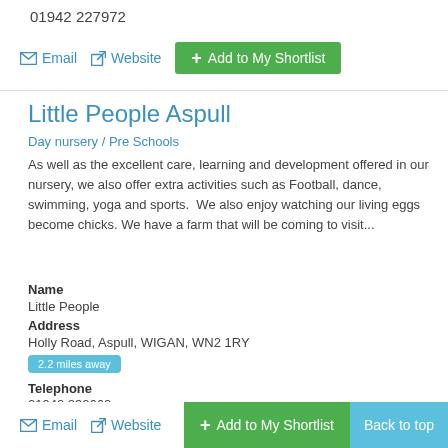01942 227972
Email   Website   Add to My Shortlist
Little People Aspull
Day nursery / Pre Schools
As well as the excellent care, learning and development offered in our nursery, we also offer extra activities such as Football, dance, swimming, yoga and sports.  We also enjoy watching our living eggs become chicks. We have a farm that will be coming to visit...
Name
Little People
Address
Holly Road, Aspull, WIGAN, WN2 1RY
2.2 miles away
Telephone
01942 832662
Email   Website   Add to My Shortlist   Back to top